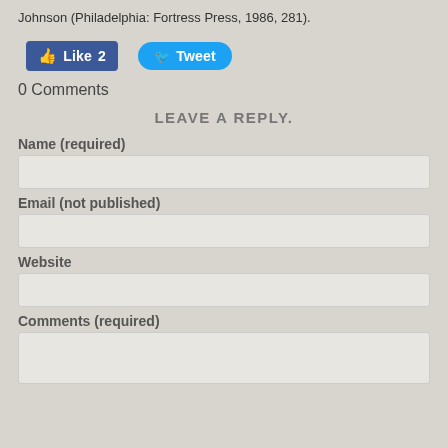Johnson (Philadelphia: Fortress Press, 1986, 281).
[Figure (screenshot): Social sharing buttons: Facebook Like (count: 2) and Twitter Tweet buttons]
0 Comments
LEAVE A REPLY.
Name (required)
Email (not published)
Website
Comments (required)